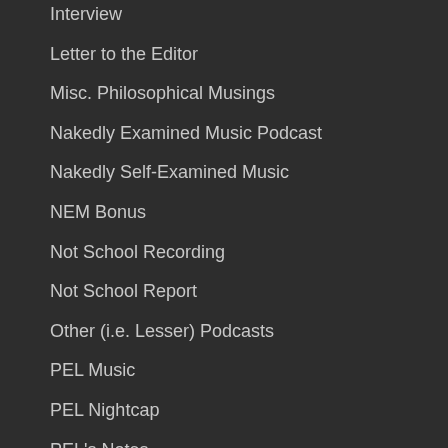Interview
Letter to the Editor
Misc. Philosophical Musings
Nakedly Examined Music Podcast
Nakedly Self-Examined Music
NEM Bonus
Not School Recording
Not School Report
Other (i.e. Lesser) Podcasts
PEL Music
PEL Nightcap
PEL's Notes
Personal Philosophies
Phi Fic Podcast